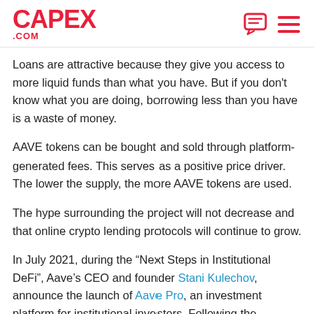CAPEX.COM
Loans are attractive because they give you access to more liquid funds than what you have. But if you don't know what you are doing, borrowing less than you have is a waste of money.
AAVE tokens can be bought and sold through platform-generated fees. This serves as a positive price driver. The lower the supply, the more AAVE tokens are used.
The hype surrounding the project will not decrease and that online crypto lending protocols will continue to grow.
In July 2021, during the “Next Steps in Institutional DeFi”, Aave’s CEO and founder Stani Kulechov, announce the launch of Aave Pro, an investment platform for institutional investors. Following the announcement, the price of Aave rallied up to 30%, hitting a month high of $345.
Because is difficult to analyze the intrinsic value of